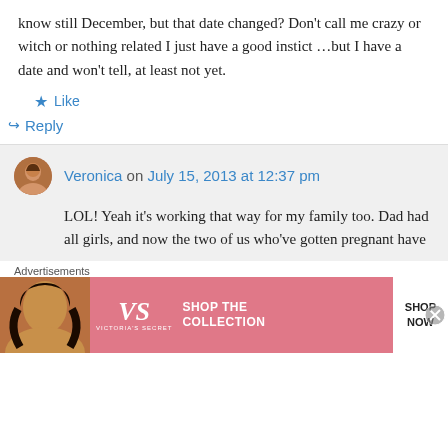know still December, but that date changed? Don't call me crazy or witch or nothing related I just have a good instict …but I have a date and won't tell, at least not yet.
★ Like
↪ Reply
Veronica on July 15, 2013 at 12:37 pm
LOL! Yeah it's working that way for my family too. Dad had all girls, and now the two of us who've gotten pregnant have
Advertisements
[Figure (illustration): Victoria's Secret advertisement banner with a woman's photo on the left, VS logo in center on pink background, 'SHOP THE COLLECTION' text, and 'SHOP NOW' white button on right.]